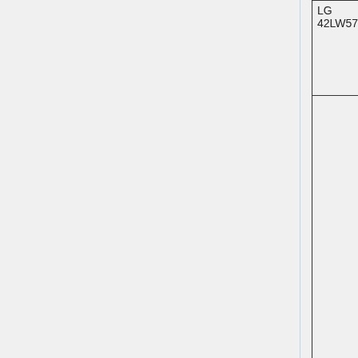| LG 42LW5700TA |  | yes |  |
| Sony Bravia 32CX520 |  | yes | This is w pic ab +5V inp pro ope you use pro pow sup and pow cab oth the |